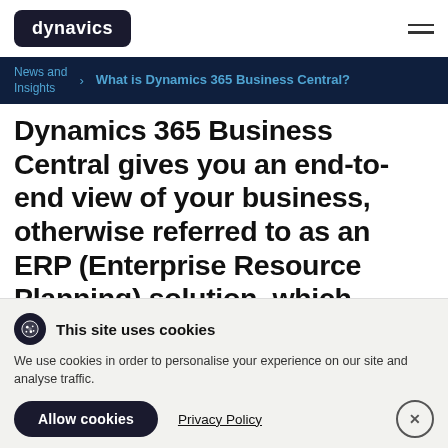dynavics
News and Insights > What is Dynamics 365 Business Central?
Dynamics 365 Business Central gives you an end-to-end view of your business, otherwise referred to as an ERP (Enterprise Resource Planning) solution, which promises to improve productivity and output in fast moving international business environments. Designed specifically to help businesses and processes run faster, it also helps you connect with customers, make critical data-driven decisions with
This site uses cookies
We use cookies in order to personalise your experience on our site and analyse traffic.
Allow cookies    Privacy Policy